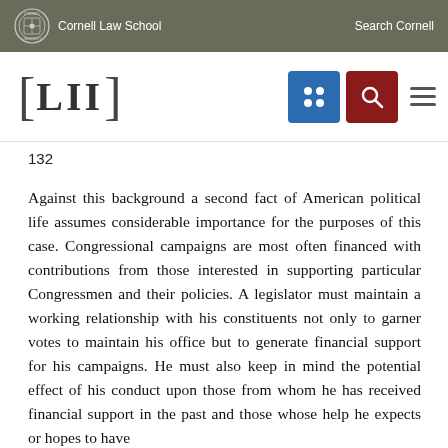Cornell Law School   Search Cornell
[Figure (logo): LII Legal Information Institute logo with Cornell Law School branding, navigation icons (topic browser, search), and hamburger menu]
132
Against this background a second fact of American political life assumes considerable importance for the purposes of this case. Congressional campaigns are most often financed with contributions from those interested in supporting particular Congressmen and their policies. A legislator must maintain a working relationship with his constituents not only to garner votes to maintain his office but to generate financial support for his campaigns. He must also keep in mind the potential effect of his conduct upon those from whom he has received financial support in the past and those whose help he expects or hopes to have